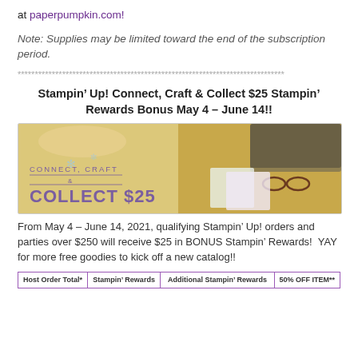at paperpumpkin.com!
Note: Supplies may be limited toward the end of the subscription period.
******************************************************************************
Stampin’ Up! Connect, Craft & Collect $25 Stampin’ Rewards Bonus May 4 – June 14!!
[Figure (photo): Promotional banner image showing crafting supplies, cards, cookies, laptop and glasses on a table with text 'CONNECT, CRAFT & COLLECT $25' in purple]
From May 4 – June 14, 2021, qualifying Stampin’ Up! orders and parties over $250 will receive $25 in BONUS Stampin’ Rewards!  YAY for more free goodies to kick off a new catalog!!
| Host Order Total* | Stampin’ Rewards | Additional Stampin’ Rewards | 50% OFF ITEM** |
| --- | --- | --- | --- |